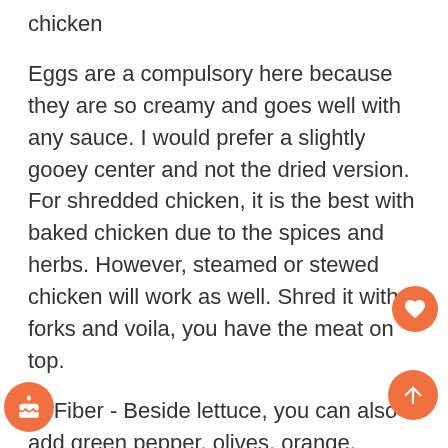chicken
Eggs are a compulsory here because they are so creamy and goes well with any sauce. I would prefer a slightly gooey center and not the dried version. For shredded chicken, it is the best with baked chicken due to the spices and herbs. However, steamed or stewed chicken will work as well. Shred it with 2 forks and voila, you have the meat on top.
3) Fiber - Beside lettuce, you can also add green pepper, olives, orange, pineapple, spinach, corn, cherry tomatoes, cucumber, carrots and other food leftover in your fridge. It makes for a good filling meal, not sacrificing on nutrients either. Some raisins are good too for the natural sweetness.